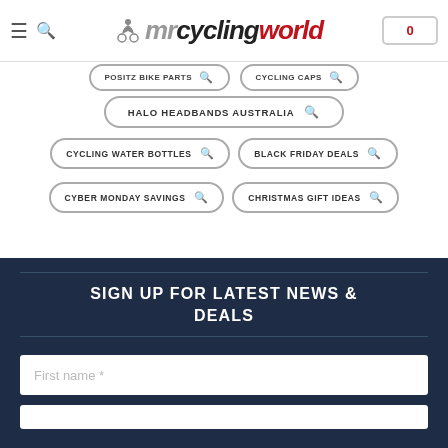[Figure (logo): Mr Cycling World website header with hamburger menu, search icon, logo, and cart icon showing 0]
POSITZ BIKE PARTS
CYCLING CAPS
HALO HEADBANDS AUSTRALIA
CYCLING WATER BOTTLES
BLACK FRIDAY DEALS
CYBER MONDAY SAVINGS
CHRISTMAS GIFT IDEAS
SIGN UP FOR LATEST NEWS & DEALS
First name *